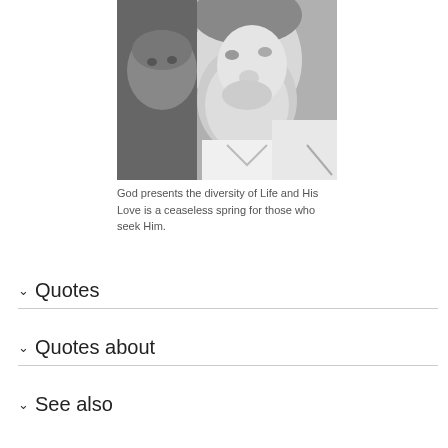[Figure (photo): Black and white photograph of an elderly bearded man with other people partially visible behind him]
God presents the diversity of Life and His Love is a ceaseless spring for those who seek Him.
Quotes
Quotes about
See also